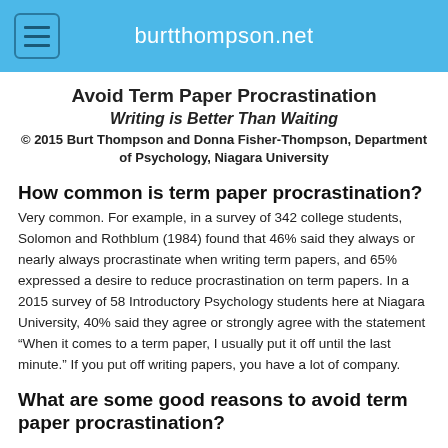burtthompson.net
Avoid Term Paper Procrastination
Writing is Better Than Waiting
© 2015 Burt Thompson and Donna Fisher-Thompson, Department of Psychology, Niagara University
How common is term paper procrastination?
Very common. For example, in a survey of 342 college students, Solomon and Rothblum (1984) found that 46% said they always or nearly always procrastinate when writing term papers, and 65% expressed a desire to reduce procrastination on term papers. In a 2015 survey of 58 Introductory Psychology students here at Niagara University, 40% said they agree or strongly agree with the statement “When it comes to a term paper, I usually put it off until the last minute.” If you put off writing papers, you have a lot of company.
What are some good reasons to avoid term paper procrastination?